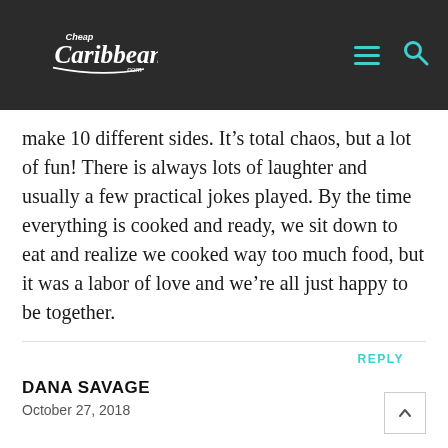Cheap Caribbean .com
make 10 different sides. It’s total chaos, but a lot of fun! There is always lots of laughter and usually a few practical jokes played. By the time everything is cooked and ready, we sit down to eat and realize we cooked way too much food, but it was a labor of love and we’re all just happy to be together.
REPLY
DANA SAVAGE
October 27, 2018